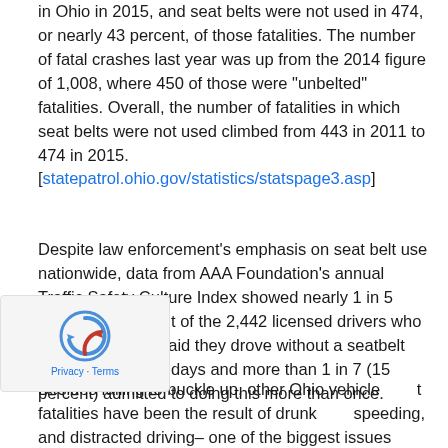in Ohio in 2015, and seat belts were not used in 474, or nearly 43 percent, of those fatalities. The number of fatal crashes last year was up from the 2014 figure of 1,008, where 450 of those were "unbelted" fatalities. Overall, the number of fatalities in which seat belts were not used climbed from 443 in 2011 to 474 in 2015. [statepatrol.ohio.gov/statistics/statspage3.asp]
Despite law enforcement's emphasis on seat belt use nationwide, data from AAA Foundation's annual Traffic Safety Culture Index showed nearly 1 in 5 drivers (18 percent of the 2,442 licensed drivers who took the survey) said they drove without a seatbelt within the past 30 days and more than 1 in 7 (15 percent) admitted to doing this more than once.
Besides failing to buckle up, other Ohio vehicle fatalities have been the result of drunk speeding, and distracted driving– one of the biggest issues teenage and adult drivers face today,